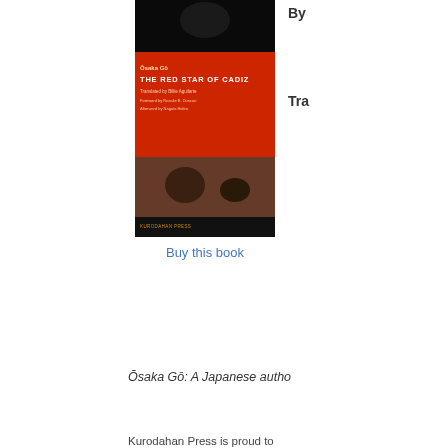[Figure (photo): Book cover of 'The Red Star of Cadiz' by Osaka Go, published by Kurodahan Press. Black cover with red central design and author/title text.]
Buy this book
By
Tra
Ōsaka Gō: A Japanese autho
Kurodahan Press is proud to Cadiz," an international suspe master of the genre in Japan. Naoki Prize, the 40th Mystery Fiction Association Prize. The suspense fiction!
The Red Star of Cadiz » more
The Edogawa Rampo R